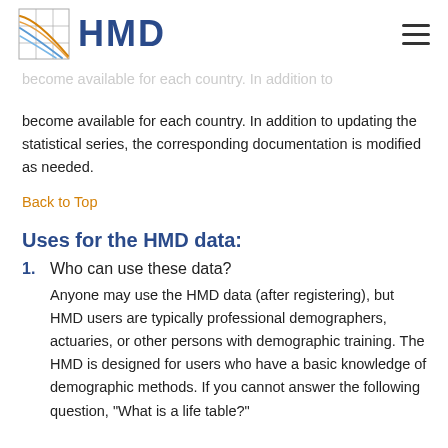HMD
become available for each country. In addition to updating the statistical series, the corresponding documentation is modified as needed.
Back to Top
Uses for the HMD data:
1. Who can use these data?
Anyone may use the HMD data (after registering), but HMD users are typically professional demographers, actuaries, or other persons with demographic training. The HMD is designed for users who have a basic knowledge of demographic methods. If you cannot answer the following question, "What is a life table?"